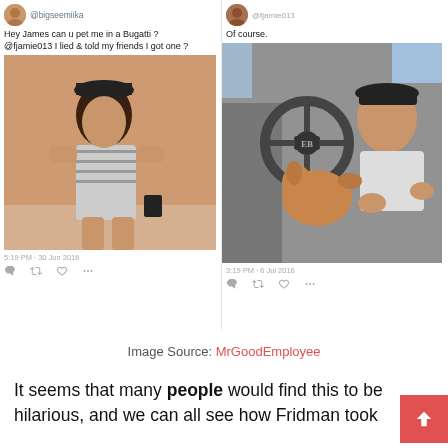[Figure (screenshot): Screenshot of two Twitter posts side by side. Left tweet shows a man posing outdoors with text 'Hey James can u pet me in a Bugatti? @fjamie013 I lied & told my friends I got one?' and timestamp '5:19 PM - 30 Jun 2016'. Right tweet shows the same man sitting in a Bugatti with a dog with text 'Of course.' and timestamp '3:19 PM - 6 Jul 2016'.]
Image Source: MrGoodEmployee
It seems that many people would find this to be hilarious, and we can all see how Fridman took